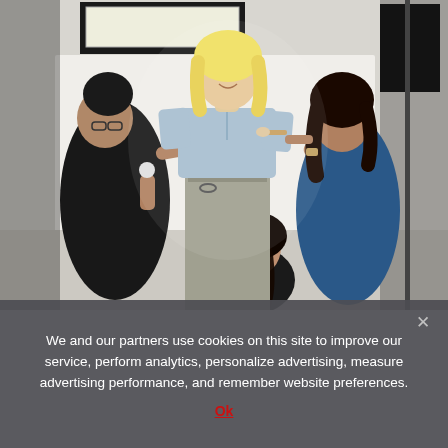[Figure (photo): Behind-the-scenes photo shoot in a studio. A blonde woman in a light blue shirt and beige skirt stands in the center while three stylists work on her — one on each side doing hair/makeup and one crouching at her feet. Studio lighting equipment is visible in the background.]
We and our partners use cookies on this site to improve our service, perform analytics, personalize advertising, measure advertising performance, and remember website preferences.
Ok